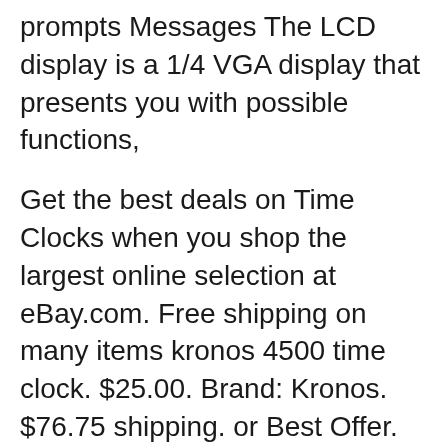prompts Messages The LCD display is a 1/4 VGA display that presents you with possible functions,
Get the best deals on Time Clocks when you shop the largest online selection at eBay.com. Free shipping on many items kronos 4500 time clock. $25.00. Brand: Kronos. $76.75 shipping. or Best Offer. Watch. ADP Kronos 4500 8602800-851 Time Clock. User Agreement, AT-4500 Calculating Time Recorder Bundle Package includes AT-4500 time clock with brand new ribbons (installed), starter pack of time cards, (1) 10-slot card holders, wall вЂ¦
Kronos timekeeping system procedure